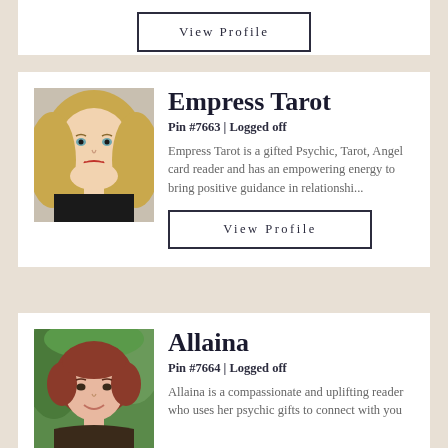[Figure (photo): Partial card visible at top of page]
Empress Tarot
Pin #7663 | Logged off
Empress Tarot is a gifted Psychic, Tarot, Angel card reader and has an empowering energy to bring positive guidance in relationshi...
View Profile
[Figure (photo): Photo of Allaina, a woman with short red/auburn hair, smiling, outdoors with greenery background]
Allaina
Pin #7664 | Logged off
Allaina is a compassionate and uplifting reader who uses her psychic gifts to connect with you